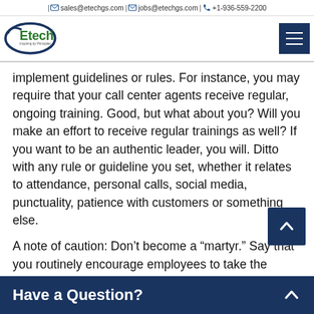| sales@etechgs.com | jobs@etechgs.com | +1-936-559-2200
[Figure (logo): Etech logo — green text 'Etech' inside a blue oval swoosh, with tagline 'Inspiring by Principles']
implement guidelines or rules. For instance, you may require that your call center agents receive regular, ongoing training. Good, but what about you? Will you make an effort to receive regular trainings as well? If you want to be an authentic leader, you will. Ditto with any rule or guideline you set, whether it relates to attendance, personal calls, social media, punctuality, patience with customers or something else.
A note of caution: Don’t become a “martyr.” Say that you routinely encourage employees to take the vacation
Have a Question?